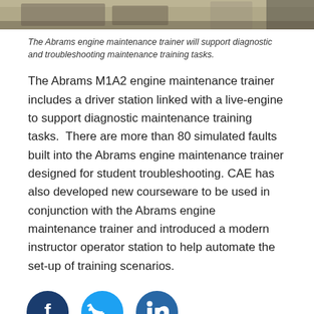[Figure (photo): Partial view of Abrams engine maintenance trainer hardware — industrial equipment in a workshop setting]
The Abrams engine maintenance trainer will support diagnostic and troubleshooting maintenance training tasks.
The Abrams M1A2 engine maintenance trainer includes a driver station linked with a live-engine to support diagnostic maintenance training tasks.  There are more than 80 simulated faults built into the Abrams engine maintenance trainer designed for student troubleshooting. CAE has also developed new courseware to be used in conjunction with the Abrams engine maintenance trainer and introduced a modern instructor operator station to help automate the set-up of training scenarios.
[Figure (illustration): Social media share icons: Facebook, Twitter, LinkedIn]